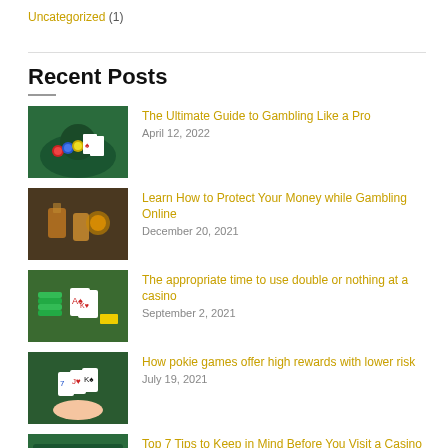Uncategorized (1)
Recent Posts
The Ultimate Guide to Gambling Like a Pro
April 12, 2022
Learn How to Protect Your Money while Gambling Online
December 20, 2021
The appropriate time to use double or nothing at a casino
September 2, 2021
How pokie games offer high rewards with lower risk
July 19, 2021
Top 7 Tips to Keep in Mind Before You Visit a Casino and Gambling
September 30, 2020